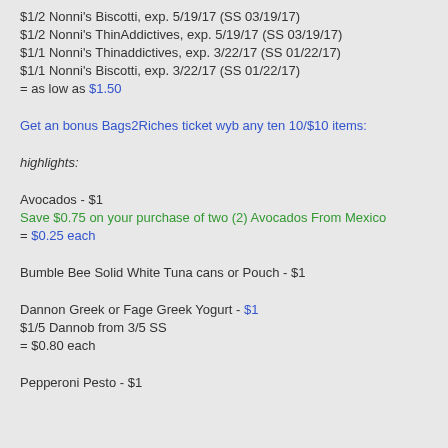$1/2 Nonni's Biscotti, exp. 5/19/17 (SS 03/19/17)
$1/2 Nonni's ThinAddictives, exp. 5/19/17 (SS 03/19/17)
$1/1 Nonni's Thinaddictives, exp. 3/22/17 (SS 01/22/17)
$1/1 Nonni's Biscotti, exp. 3/22/17 (SS 01/22/17)
= as low as $1.50
Get an bonus Bags2Riches ticket wyb any ten 10/$10 items:
highlights:
Avocados - $1
Save $0.75 on your purchase of two (2) Avocados From Mexico
= $0.25 each
Bumble Bee Solid White Tuna cans or Pouch - $1
Dannon Greek or Fage Greek Yogurt - $1
$1/5 Dannob from 3/5 SS
= $0.80 each
Pepperoni Pesto - $1